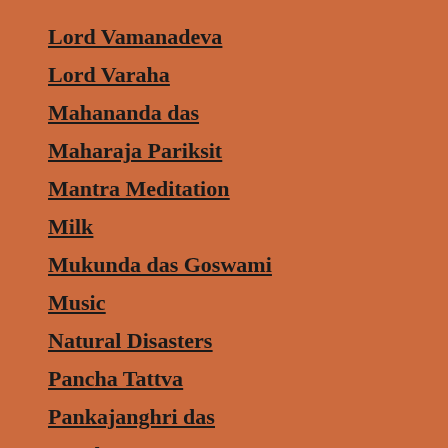Lord Vamanadeva
Lord Varaha
Mahananda das
Maharaja Pariksit
Mantra Meditation
Milk
Mukunda das Goswami
Music
Natural Disasters
Pancha Tattva
Pankajanghri das
People
Philosophy of Krishna Consciousness